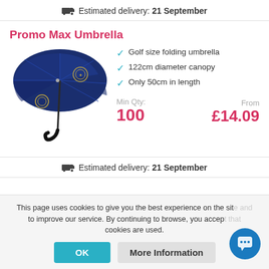Estimated delivery: 21 September
Promo Max Umbrella
[Figure (photo): Navy blue folding golf umbrella, open, with a logo on the canopy and black handle]
Golf size folding umbrella
122cm diameter canopy
Only 50cm in length
Min Qty: 100   From £14.09
Estimated delivery: 21 September
This page uses cookies to give you the best experience on the site and to improve our service. By continuing to browse, you accept that cookies are used.